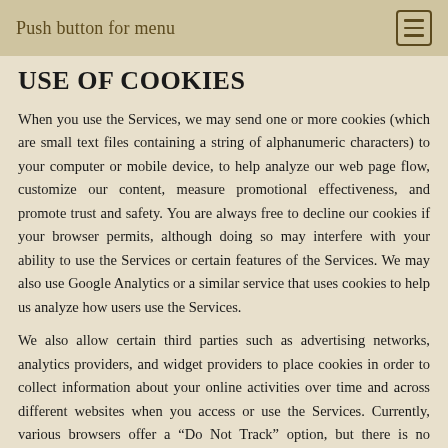Push button for menu
USE OF COOKIES
When you use the Services, we may send one or more cookies (which are small text files containing a string of alphanumeric characters) to your computer or mobile device, to help analyze our web page flow, customize our content, measure promotional effectiveness, and promote trust and safety. You are always free to decline our cookies if your browser permits, although doing so may interfere with your ability to use the Services or certain features of the Services. We may also use Google Analytics or a similar service that uses cookies to help us analyze how users use the Services.
We also allow certain third parties such as advertising networks, analytics providers, and widget providers to place cookies in order to collect information about your online activities over time and across different websites when you access or use the Services. Currently, various browsers offer a “Do Not Track” option, but there is no standard for how “Do Not